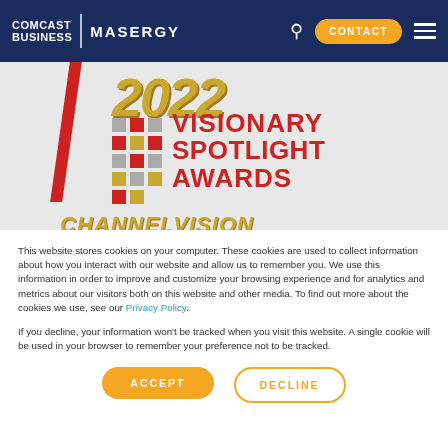COMCAST BUSINESS | MASERGY — Navigation header with CONTACT button
[Figure (logo): 2022 Visionary Spotlight Awards logo with ChannelVision text, red geometric shapes, golden numbers, and colorful grid dots on light gray background]
This website stores cookies on your computer. These cookies are used to collect information about how you interact with our website and allow us to remember you. We use this information in order to improve and customize your browsing experience and for analytics and metrics about our visitors both on this website and other media. To find out more about the cookies we use, see our Privacy Policy.
If you decline, your information won't be tracked when you visit this website. A single cookie will be used in your browser to remember your preference not to be tracked.
ACCEPT
DECLINE